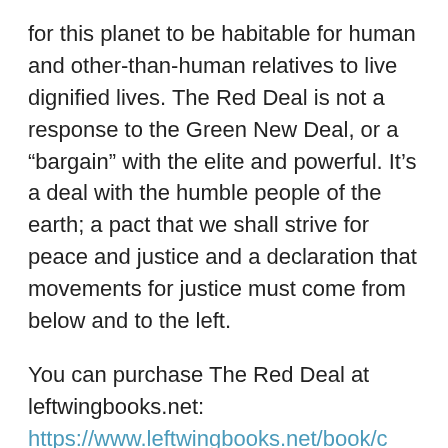for this planet to be habitable for human and other-than-human relatives to live dignified lives. The Red Deal is not a response to the Green New Deal, or a “bargain” with the elite and powerful. It’s a deal with the humble people of the earth; a pact that we shall strive for peace and justice and a declaration that movements for justice must come from below and to the left.
You can purchase The Red Deal at leftwingbooks.net: https://www.leftwingbooks.net/book/c...deal-indigenous-action-save-our-earth
For more information, listen to the April 17, 2021, interview with The Red Nation conducted by Millienials Are Killing Capitalism: